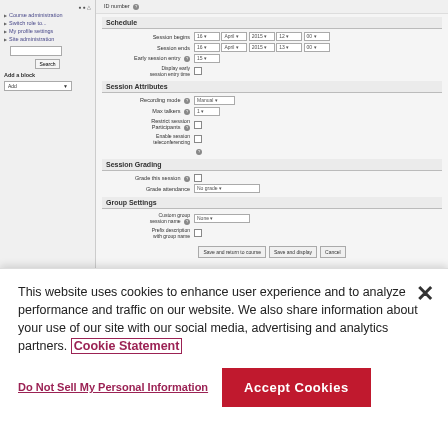[Figure (screenshot): Moodle LMS course session settings page showing Schedule, Session Attributes, Session Grading, and Group Settings sections with form fields, dropdowns and checkboxes. Left sidebar shows navigation items including Course administration, Switch role to, My profile settings, Site administration, search box, and Add a block section.]
This website uses cookies to enhance user experience and to analyze performance and traffic on our website. We also share information about your use of our site with our social media, advertising and analytics partners. Cookie Statement
Do Not Sell My Personal Information
Accept Cookies